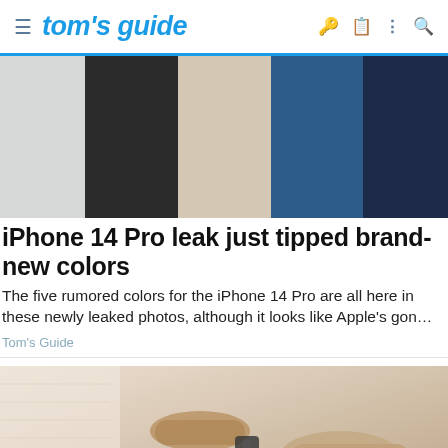tom's guide
[Figure (photo): iPhone 14 Pro color options shown as flat color swatches: light gray/silver, dark charcoal/black, beige/gold, dark blue, deep navy/purple]
iPhone 14 Pro leak just tipped brand-new colors
The five rumored colors for the iPhone 14 Pro are all here in these newly leaked photos, although it looks like Apple's gon…
Tom's Guide
[Figure (photo): Person handing over car keys to another person, warm beige/tan toned photo]